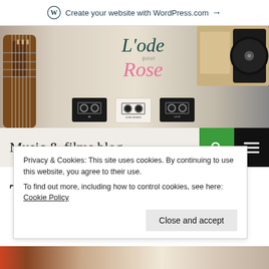Create your website with WordPress.com →
[Figure (photo): Hero image of a music-themed flat lay with guitar headstock, record player, cassette tapes, and the blog logo 'L'ode pour Rose' overlaid]
Music & films blog
Tag Archives: review
Privacy & Cookies: This site uses cookies. By continuing to use this website, you agree to their use.
To find out more, including how to control cookies, see here: Cookie Policy
[Figure (photo): Partial image strip at bottom of page]